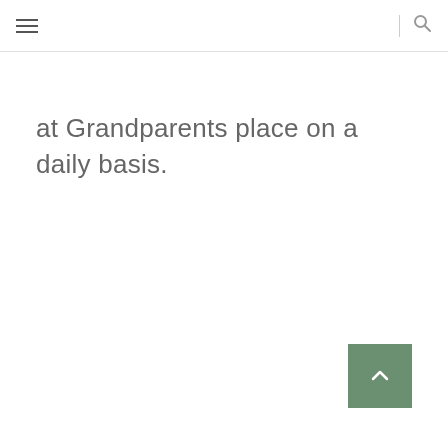at Grandparents place on a daily basis.